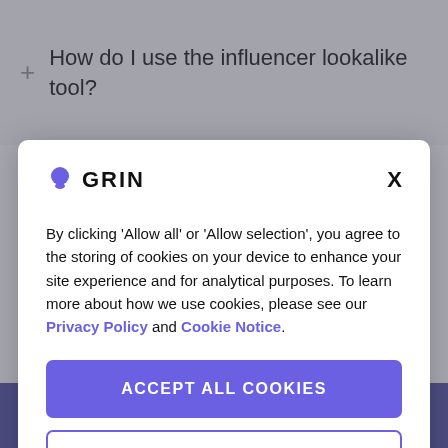How do I use the influencer lookalike tool?
[Figure (screenshot): GRIN cookie consent modal dialog with logo, close button, consent text with Privacy Policy and Cookie Notice links, Accept All Cookies button, and Cookies Settings button]
By clicking 'Allow all' or 'Allow selection', you agree to the storing of cookies on your device to enhance your site experience and for analytical purposes. To learn more about how we use cookies, please see our Privacy Policy and Cookie Notice.
ACCEPT ALL COOKIES
COOKIES SETTINGS